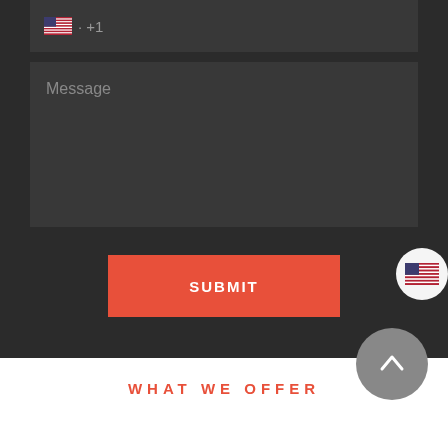[Figure (screenshot): Phone input bar with US flag icon and +1 country code placeholder]
[Figure (screenshot): Message textarea with placeholder text 'Message']
[Figure (screenshot): Red SUBMIT button centered on dark background]
[Figure (screenshot): Circular US flag language switcher button on right edge]
[Figure (screenshot): Gray circular scroll-to-top arrow button]
WHAT WE OFFER